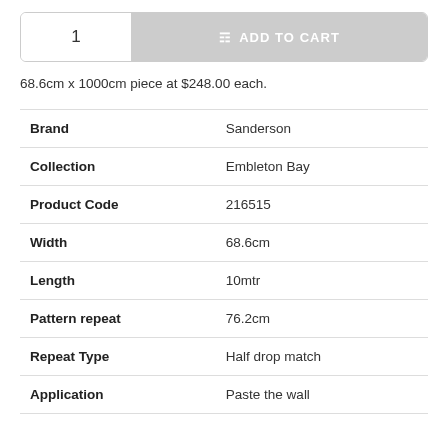1   ADD TO CART
68.6cm x 1000cm piece at $248.00 each.
|  |  |
| --- | --- |
| Brand | Sanderson |
| Collection | Embleton Bay |
| Product Code | 216515 |
| Width | 68.6cm |
| Length | 10mtr |
| Pattern repeat | 76.2cm |
| Repeat Type | Half drop match |
| Application | Paste the wall |